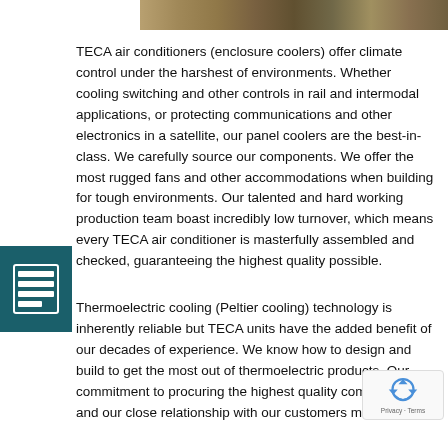[Figure (photo): Partial photo of a sandy/rocky terrain or ground texture visible at the top of the page]
TECA air conditioners (enclosure coolers) offer climate control under the harshest of environments. Whether cooling switching and other controls in rail and intermodal applications, or protecting communications and other electronics in a satellite, our panel coolers are the best-in-class. We carefully source our components. We offer the most rugged fans and other accommodations when building for tough environments. Our talented and hard working production team boast incredibly low turnover, which means every TECA air conditioner is masterfully assembled and checked, guaranteeing the highest quality possible.
Thermoelectric cooling (Peltier cooling) technology is inherently reliable but TECA units have the added benefit of our decades of experience. We know how to design and build to get the most out of thermoelectric products. Our commitment to procuring the highest quality components and our close relationship with our customers means we can best serve you. Whether TECA products are certified...